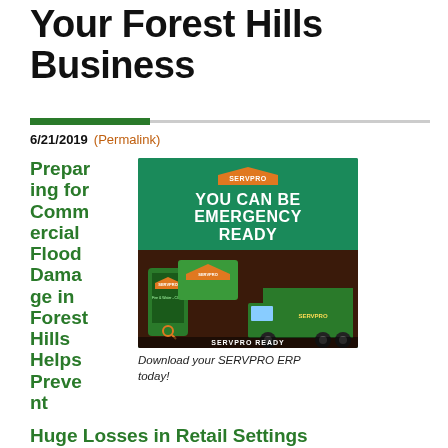Your Forest Hills Business
6/21/2019 (Permalink)
Preparing for Commercial Flood Damage in Forest Hills Helps Prevent Huge Losses in Retail Settings
[Figure (photo): SERVPRO promotional image showing 'YOU CAN BE EMERGENCY READY' with SERVPRO logo, smartphone app, and green truck]
Download your SERVPRO ERP today!